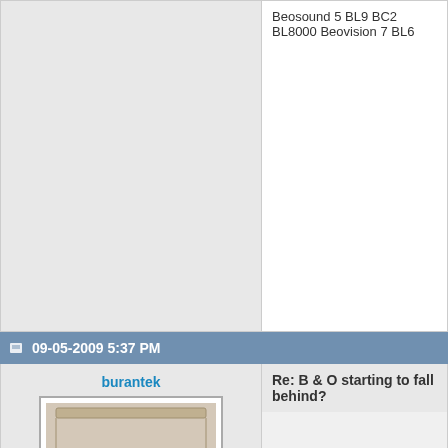Beosound 5 BL9 BC2 BL8000 Beovision 7 BL6...
09-05-2009 5:37 PM
burantek
[Figure (photo): Avatar image of a Bang & Olufsen turntable/CD player open lid]
Joined on 05-04-2007
SE USA
Posts 6,214
Re: B & O starting to fall behind?
Frankly, I think Trip's post was the most pe...
At this rate, I may never set foot in another...
Remember the days when you could walk... it just worked! Christmas is over.
Bangedup & Oldstuff for me, thanks.
B&o bottle opener